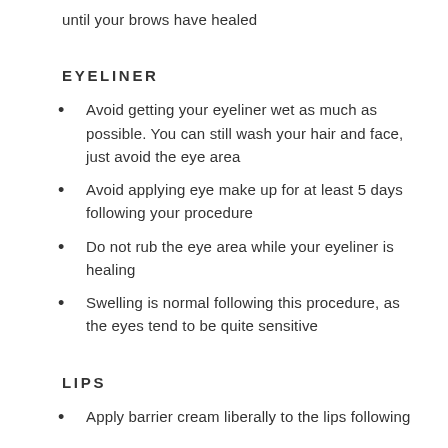until your brows have healed
EYELINER
Avoid getting your eyeliner wet as much as possible. You can still wash your hair and face, just avoid the eye area
Avoid applying eye make up for at least 5 days following your procedure
Do not rub the eye area while your eyeliner is healing
Swelling is normal following this procedure, as the eyes tend to be quite sensitive
LIPS
Apply barrier cream liberally to the lips following